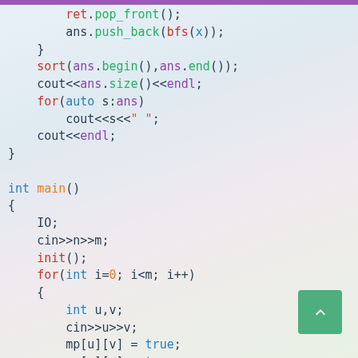[Figure (screenshot): C++ source code snippet showing sort, cout, for loop, main function with IO, cin, init, for loop reading edges into mp adjacency matrix, solve, and return 0, displayed over an anime-style background illustration with a watermark.]